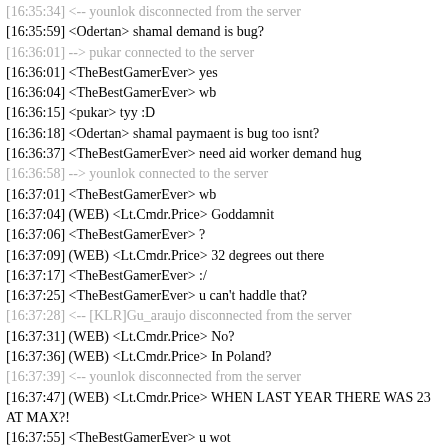[16:35:34] <-- younlok disconnected from the server
[16:35:59] <Odertan> shamal demand is bug?
[16:36:01] --> pukar connected to the server
[16:36:01] <TheBestGamerEver> yes
[16:36:04] <TheBestGamerEver> wb
[16:36:15] <pukar> tyy :D
[16:36:18] <Odertan> shamal paymaent is bug too isnt?
[16:36:37] <TheBestGamerEver> need aid worker demand hug
[16:36:58] --> younlok connected to the server
[16:37:01] <TheBestGamerEver> wb
[16:37:04] (WEB) <Lt.Cmdr.Price> Goddamnit
[16:37:06] <TheBestGamerEver> ?
[16:37:09] (WEB) <Lt.Cmdr.Price> 32 degrees out there
[16:37:17] <TheBestGamerEver> :/
[16:37:25] <TheBestGamerEver> u can't haddle that?
[16:37:28] <-- [KLR]Gu_araujo disconnected from the server
[16:37:31] (WEB) <Lt.Cmdr.Price> No?
[16:37:36] (WEB) <Lt.Cmdr.Price> In Poland?
[16:37:39] <-- younlok disconnected from the server
[16:37:47] (WEB) <Lt.Cmdr.Price> WHEN LAST YEAR THERE WAS 23 AT MAX?!
[16:37:55] <TheBestGamerEver> u wot
[16:38:17] <TheBestGamerEver> last year max was eh 45 deegres
[16:39:24] --> younlok connected to the server
[16:42:01] <-- pukar disconnected from the server